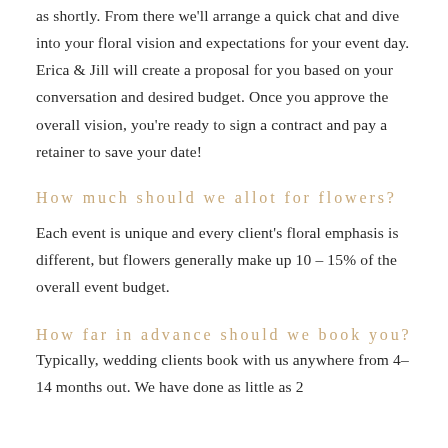as shortly. From there we'll arrange a quick chat and dive into your floral vision and expectations for your event day. Erica & Jill will create a proposal for you based on your conversation and desired budget. Once you approve the overall vision, you're ready to sign a contract and pay a retainer to save your date!
How much should we allot for flowers?
Each event is unique and every client's floral emphasis is different, but flowers generally make up 10 – 15% of the overall event budget.
How far in advance should we book you?
Typically, wedding clients book with us anywhere from 4–14 months out. We have done as little as 2